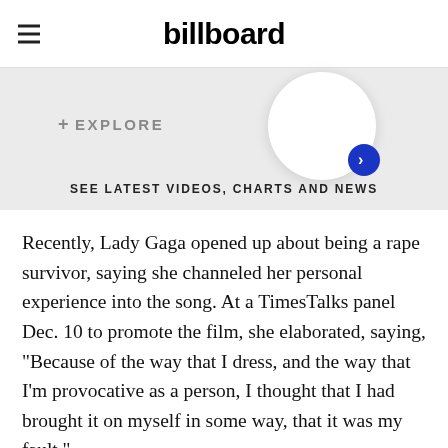billboard
[Figure (infographic): Explore banner with circular button and text 'SEE LATEST VIDEOS, CHARTS AND NEWS']
Recently, Lady Gaga opened up about being a rape survivor, saying she channeled her personal experience into the song. At a TimesTalks panel Dec. 10 to promote the film, she elaborated, saying, “Because of the way that I dress, and the way that I’m provocative as a person, I thought that I had brought it on myself in some way, that it was my fault.”